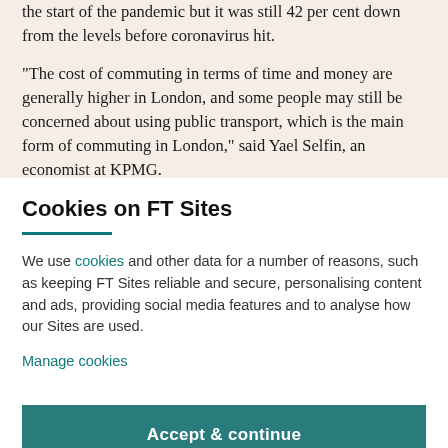the start of the pandemic but it was still 42 per cent down from the levels before coronavirus hit.
“The cost of commuting in terms of time and money are generally higher in London, and some people may still be concerned about using public transport, which is the main form of commuting in London,” said Yael Selfin, an economist at KPMG.
Cookies on FT Sites
We use cookies and other data for a number of reasons, such as keeping FT Sites reliable and secure, personalising content and ads, providing social media features and to analyse how our Sites are used.
Manage cookies
Accept & continue